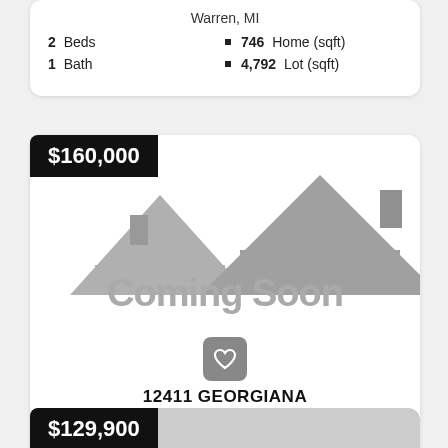Warren, MI
2 Beds
746 Home (sqft)
1 Bath
4,792 Lot (sqft)
$160,000
[Figure (illustration): Coming Soon placeholder image with gray house roof silhouette and Coming Soon text]
12411 GEORGIANA
Warren, MI
3 Beds
1,816 Home (sqft)
1 Bath
4,792 Lot (sqft)
$129,900